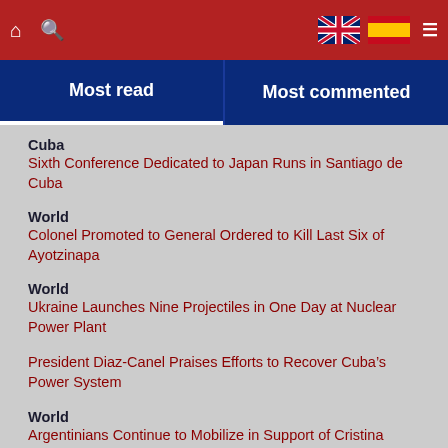Most read | Most commented
Cuba
Sixth Conference Dedicated to Japan Runs in Santiago de Cuba
World
Colonel Promoted to General Ordered to Kill Last Six of Ayotzinapa
World
Ukraine Launches Nine Projectiles in One Day at Nuclear Power Plant
President Diaz-Canel Praises Efforts to Recover Cuba's Power System
World
Argentinians Continue to Mobilize in Support of Cristina Fernandez